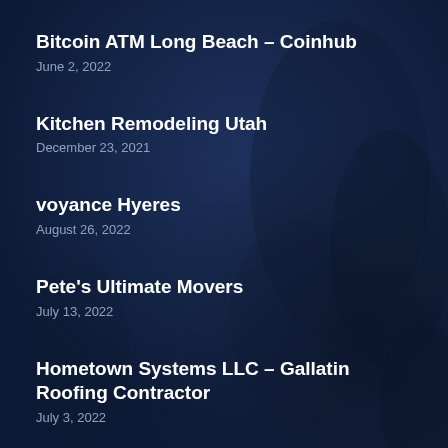Bitcoin ATM Long Beach – Coinhub
June 2, 2022
Kitchen Remodeling Utah
December 23, 2021
voyance Hyeres
August 26, 2022
Pete's Ultimate Movers
July 13, 2022
Hometown Systems LLC – Gallatin Roofing Contractor
July 3, 2022